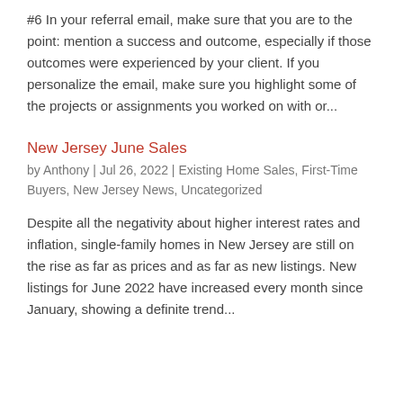#6 In your referral email, make sure that you are to the point: mention a success and outcome, especially if those outcomes were experienced by your client. If you personalize the email, make sure you highlight some of the projects or assignments you worked on with or...
New Jersey June Sales
by Anthony | Jul 26, 2022 | Existing Home Sales, First-Time Buyers, New Jersey News, Uncategorized
Despite all the negativity about higher interest rates and inflation, single-family homes in New Jersey are still on the rise as far as prices and as far as new listings. New listings for June 2022 have increased every month since January, showing a definite trend...